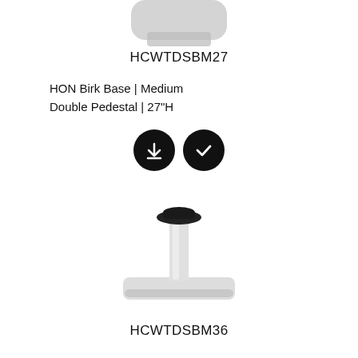[Figure (photo): Partial view of a white furniture base/pedestal component, cropped at top]
HCWTDSBM27
HON Birk Base | Medium Double Pedestal | 27"H
[Figure (infographic): Two black circular icon buttons: a download arrow icon and a checkmark icon]
[Figure (photo): A white single pedestal table base with a black connector cap on top, standing on a square white base]
HCWTDSBM36